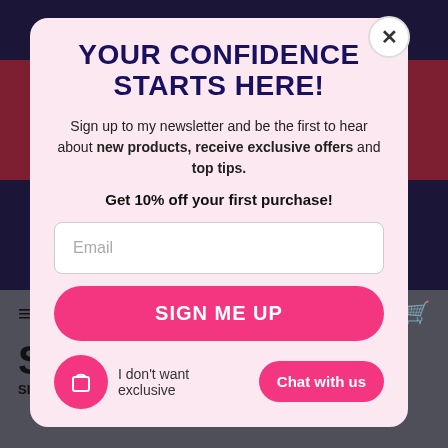[Figure (screenshot): Website popup modal with newsletter signup on a blurred e-commerce background]
YOUR CONFIDENCE STARTS HERE!
Sign up to my newsletter and be the first to hear about new products, receive exclusive offers and top tips.
Get 10% off your first purchase!
Email
SIGN ME UP
I don't want exclusive
Chat with us